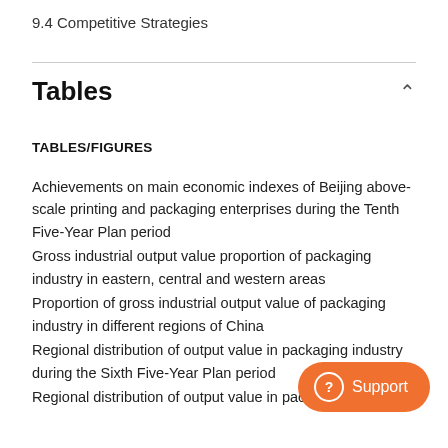9.4 Competitive Strategies
Tables
TABLES/FIGURES
Achievements on main economic indexes of Beijing above-scale printing and packaging enterprises during the Tenth Five-Year Plan period
Gross industrial output value proportion of packaging industry in eastern, central and western areas
Proportion of gross industrial output value of packaging industry in different regions of China
Regional distribution of output value in packaging industry during the Sixth Five-Year Plan period
Regional distribution of output value in packaging industry